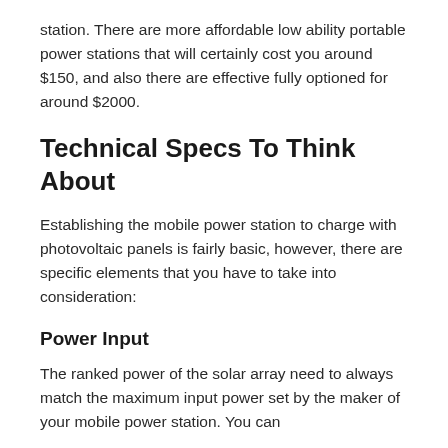station. There are more affordable low ability portable power stations that will certainly cost you around $150, and also there are effective fully optioned for around $2000.
Technical Specs To Think About
Establishing the mobile power station to charge with photovoltaic panels is fairly basic, however, there are specific elements that you have to take into consideration:
Power Input
The ranked power of the solar array need to always match the maximum input power set by the maker of your mobile power station. You can